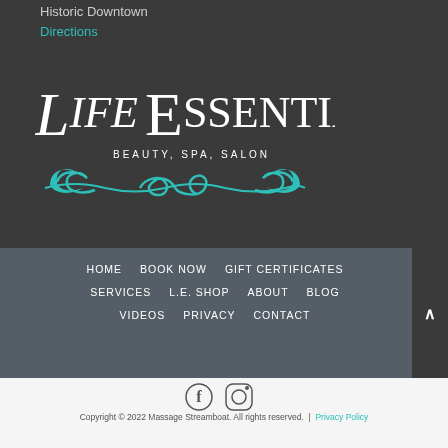Historic Downtown
Directions
[Figure (logo): Life Essentials Beauty, Spa, Salon logo with decorative teal swirl ornament and white serif text]
HOME    BOOK NOW    GIFT CERTIFICATES    SERVICES    L.E. SHOP    ABOUT    BLOG    VIDEOS    PRIVACY    CONTACT
[Figure (illustration): Facebook and Instagram social media icons]
Copyright © 2022 Massage Streamboat. All rights reserved.  |  Privacy Policy